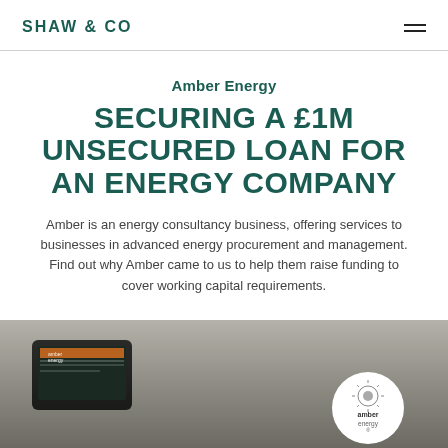SHAW & CO
Amber Energy
SECURING A £1M UNSECURED LOAN FOR AN ENERGY COMPANY
Amber is an energy consultancy business, offering services to businesses in advanced energy procurement and management. Find out why Amber came to us to help them raise funding to cover working capital requirements.
[Figure (photo): Photo of a tablet device showing the Amber Energy app interface, with the Amber Energy circular logo badge on the right side, against a blurred background.]